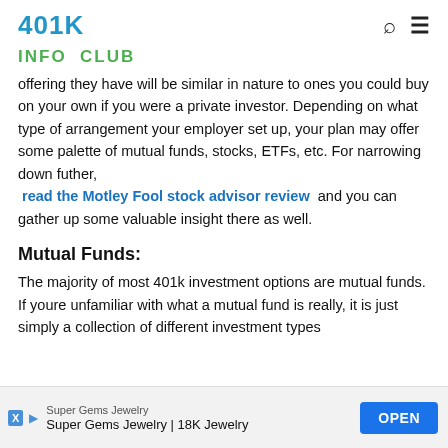401K INFO CLUB
offering they have will be similar in nature to ones you could buy on your own if you were a private investor. Depending on what type of arrangement your employer set up, your plan may offer some palette of mutual funds, stocks, ETFs, etc. For narrowing down futher, read the Motley Fool stock advisor review and you can gather up some valuable insight there as well.
Mutual Funds:
The majority of most 401k investment options are mutual funds. If youre unfamiliar with what a mutual fund is really, it is just simply a collection of different investment types
[Figure (other): Advertisement banner for Super Gems Jewelry with OPEN button]